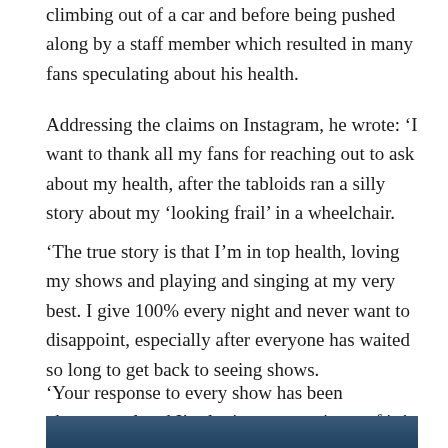climbing out of a car and before being pushed along by a staff member which resulted in many fans speculating about his health.
Addressing the claims on Instagram, he wrote: ‘I want to thank all my fans for reaching out to ask about my health, after the tabloids ran a silly story about my ‘looking frail’ in a wheelchair.
‘The true story is that I’m in top health, loving my shows and playing and singing at my very best. I give 100% every night and never want to disappoint, especially after everyone has waited so long to get back to seeing shows.
‘Your response to every show has been phenomenal and I’m loving every minute of it.’
[Figure (photo): A photo visible at the bottom of the page, partially cropped.]